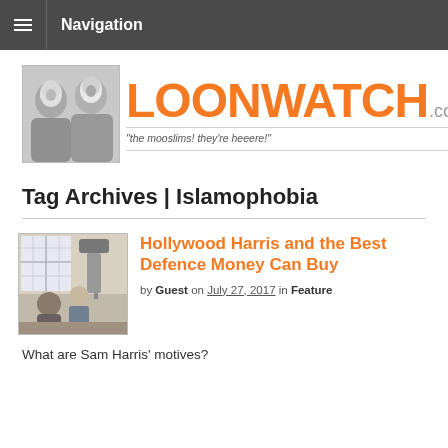Navigation
[Figure (logo): LoonWatch.com logo with tagline 'the mooslims! they're heeere!']
Tag Archives | Islamophobia
[Figure (photo): Photo of film/interview scene with person being filmed]
Hollywood Harris and the Best Defence Money Can Buy
by Guest on July 27, 2017 in Feature
What are Sam Harris' motives?